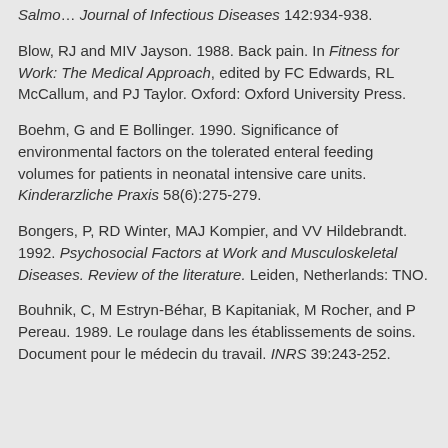Salmo... Journal of Infectious Diseases 142:934-938.
Blow, RJ and MIV Jayson. 1988. Back pain. In Fitness for Work: The Medical Approach, edited by FC Edwards, RL McCallum, and PJ Taylor. Oxford: Oxford University Press.
Boehm, G and E Bollinger. 1990. Significance of environmental factors on the tolerated enteral feeding volumes for patients in neonatal intensive care units. Kinderarzliche Praxis 58(6):275-279.
Bongers, P, RD Winter, MAJ Kompier, and VV Hildebrandt. 1992. Psychosocial Factors at Work and Musculoskeletal Diseases. Review of the literature. Leiden, Netherlands: TNO.
Bouhnik, C, M Estryn-Béhar, B Kapitaniak, M Rocher, and P Pereau. 1989. Le roulage dans les établissements de soins. Document pour le médecin du travail. INRS 39:243-252.